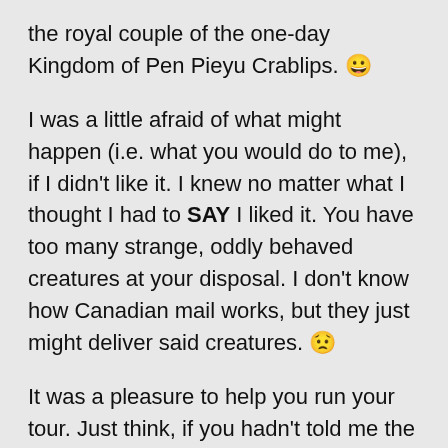the royal couple of the one-day Kingdom of Pen Pieyu Crablips. 😀
I was a little afraid of what might happen (i.e. what you would do to me), if I didn't like it. I knew no matter what I thought I had to SAY I liked it. You have too many strange, oddly behaved creatures at your disposal. I don't know how Canadian mail works, but they just might deliver said creatures. 😟
It was a pleasure to help you run your tour. Just think, if you hadn't told me the outrageous amount of money wanted for a tour, you could have had a professional running this instead of an amatuer-running-